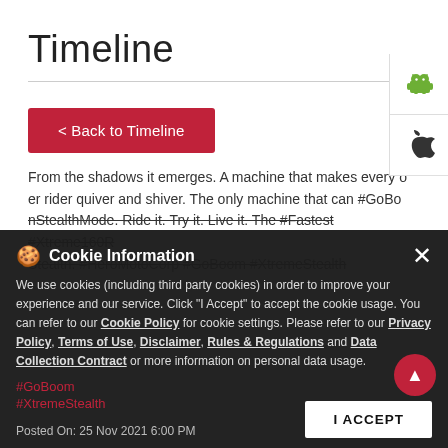Timeline
< Back to Timeline
From the shadows it emerges. A machine that makes every other rider quiver and shiver. The only machine that can #GoBoomInStealthMode. Ride it. Try it. Live it. The #Fastest #Xtreme160R Stealth. #HeroMotoCorp #GoBoom #XtremeStealth #GoBoomInStealthMode #Stealth #GoBoom #XtremeStealth Posted On: 25 Nov 2021 6:00 PM
Cookie Information
We use cookies (including third party cookies) in order to improve your experience and our service. Click "I Accept" to accept the cookie usage. You can refer to our Cookie Policy for cookie settings. Please refer to our Privacy Policy, Terms of Use, Disclaimer, Rules & Regulations and Data Collection Contract or more information on personal data usage.
I ACCEPT